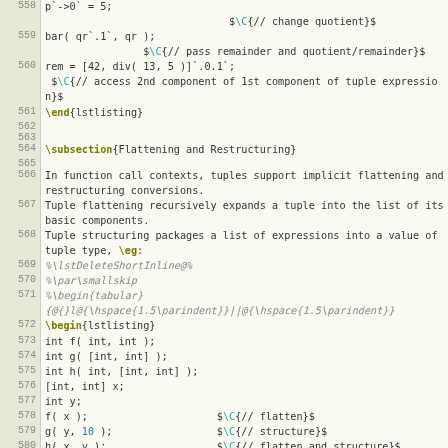Code listing lines 558-582 showing tuple flattening and restructuring in a programming language specification document
\subsection{Flattening and Restructuring}
In function call contexts, tuples support implicit flattening and restructuring conversions.
Tuple flattening recursively expands a tuple into the list of its basic components.
Tuple structuring packages a list of expressions into a value of tuple type, \eg:
Code listing: int f( int, int ); int g( [int, int] ); int h( int, [int, int] ); [int, int] x; int y; f( x ); // flatten; g( y, 10 ); // structure; h( x, y ); // flatten and structure